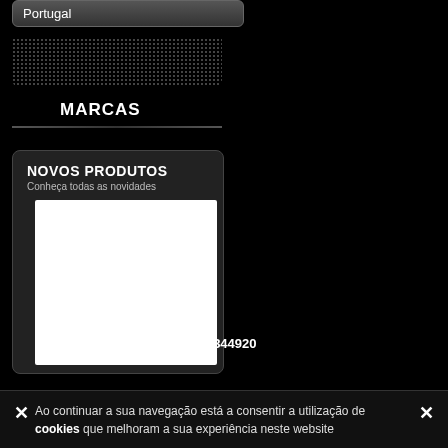Portugal
MARCAS
NOVOS PRODUTOS
Conheça todas as novidades
[Figure (photo): White product image placeholder within dark card]
227344920
Ao continuar a sua navegação está a consentir a utilização de cookies que melhoram a sua experiência neste website